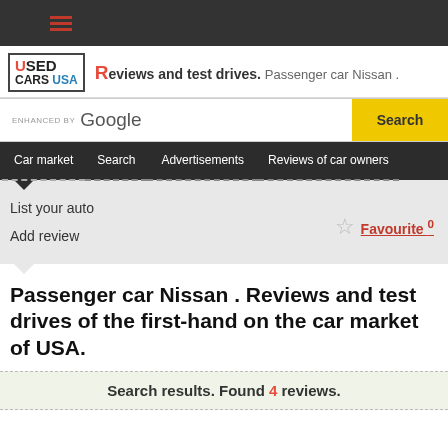≡ (hamburger menu icon)
USED CARS USA — Reviews and test drives. Passenger car Nissan .
ENHANCED BY Google  Search
Car market  Search  Advertisements  Reviews of car owners
List your auto
Add review
Favourite 0
Passenger car Nissan . Reviews and test drives of the first-hand on the car market of USA.
Search results. Found 4 reviews.